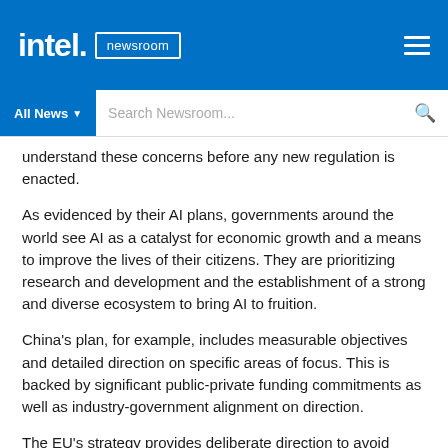intel. newsroom
understand these concerns before any new regulation is enacted.
As evidenced by their AI plans, governments around the world see AI as a catalyst for economic growth and a means to improve the lives of their citizens. They are prioritizing research and development and the establishment of a strong and diverse ecosystem to bring AI to fruition.
China's plan, for example, includes measurable objectives and detailed direction on specific areas of focus. This is backed by significant public-private funding commitments as well as industry-government alignment on direction.
The EU's strategy provides deliberate direction to avoid regulation while investing in R&D. It offers a clear focus on greater investment, preparation for socio-economic...